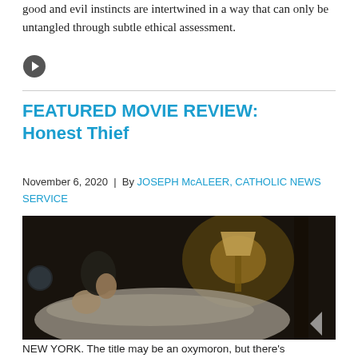good and evil instincts are intertwined in a way that can only be untangled through subtle ethical assessment.
[Figure (other): Circular arrow/next button icon]
FEATURED MOVIE REVIEW: Honest Thief
November 6, 2020  |  By JOSEPH McALEER, CATHOLIC NEWS SERVICE
[Figure (photo): Movie still from Honest Thief showing a man leaning over a person lying in bed, with a lamp in the background]
NEW YORK. The title may be an oxymoron, but there's